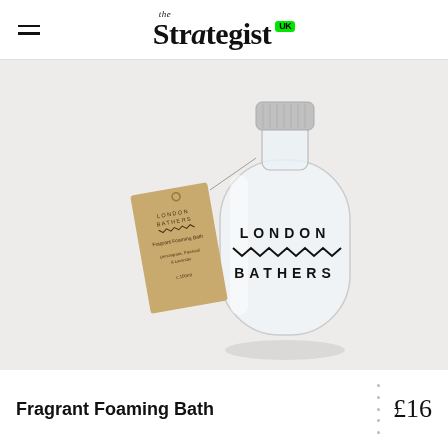the Strategist UK
[Figure (photo): A clear glass bottle with silver screw cap labeled 'LONDON BATHERS' with a zigzag wave pattern on the label, and a kraft paper hang tag that reads 'LONDON BATHERS Fragrant Foaming Bath' with scent details and volume, product displayed on a light grey background.]
Fragrant Foaming Bath
£16